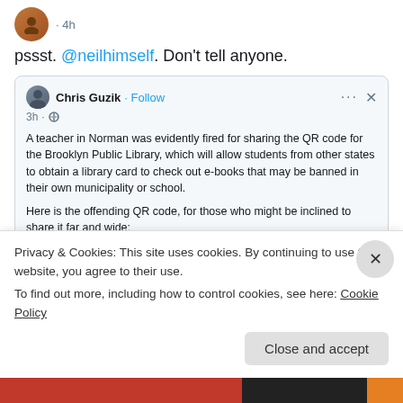pssst. @neilhimself. Don't tell anyone.
[Figure (screenshot): Quoted tweet from Chris Guzik about a teacher fired for sharing Brooklyn Public Library QR code]
5  980
Longbox ...  @lon... · 4h
Privacy & Cookies: This site uses cookies. By continuing to use this website, you agree to their use.
To find out more, including how to control cookies, see here: Cookie Policy
Close and accept